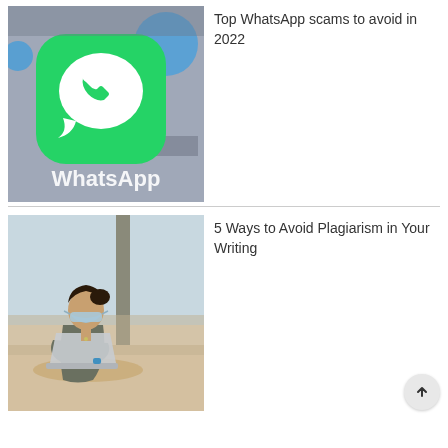[Figure (photo): WhatsApp app icon on a smartphone screen, close-up showing the green WhatsApp icon with phone handset logo and 'WhatsApp' text overlay]
Top WhatsApp scams to avoid in 2022
[Figure (photo): Young woman wearing a face mask sitting with a laptop at what appears to be an airport terminal, viewed from the side]
5 Ways to Avoid Plagiarism in Your Writing